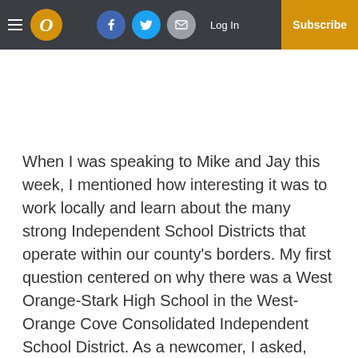O | Log In | Subscribe
When I was speaking to Mike and Jay this week, I mentioned how interesting it was to work locally and learn about the many strong Independent School Districts that operate within our county's borders. My first question centered on why there was a West Orange-Stark High School in the West-Orange Cove Consolidated Independent School District. As a newcomer, I asked, 'why don't they share the same